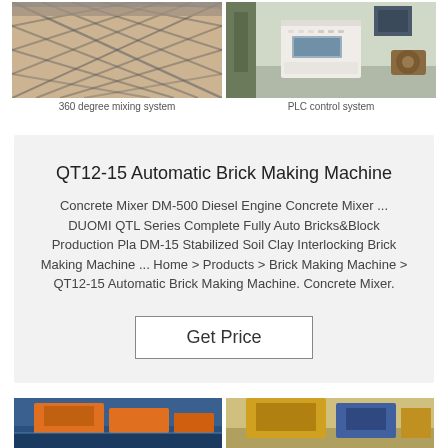[Figure (photo): 360 degree mixing system — industrial machinery with cross-hatch metal framework]
360 degree mixing system
[Figure (photo): PLC control system — white control panel with buttons and display in industrial setting]
PLC control system
QT12-15 Automatic Brick Making Machine
Concrete Mixer DM-500 Diesel Engine Concrete Mixer ... DUOMI QTL Series Complete Fully Auto Bricks&Block Production Pla DM-15 Stabilized Soil Clay Interlocking Brick Making Machine ... Home > Products > Brick Making Machine > QT12-15 Automatic Brick Making Machine. Concrete Mixer.
Get Price
[Figure (photo): Bottom partial image 1 — blue and orange industrial machinery]
[Figure (photo): Bottom partial image 2 — yellow/blue machinery component]